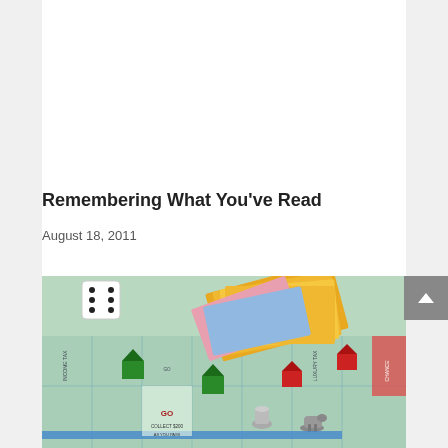[Figure (photo): Light gray placeholder rectangle at the top of the page, representing an image area]
Remembering What You've Read
August 18, 2011
[Figure (photo): Photo of a Monopoly board game showing dice, colorful Monopoly money ($500 bills), green and red plastic houses, a metal thimble token, a metal dog token, and the game board with spaces including Income Tax, Luxury Tax, and Go squares]